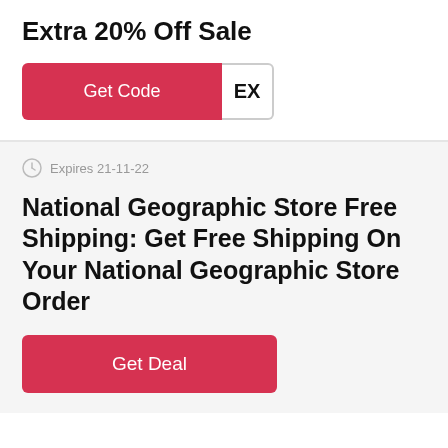Extra 20% Off Sale
[Figure (other): Red 'Get Code' button with a white reveal panel showing 'EX']
Expires 21-11-22
National Geographic Store Free Shipping: Get Free Shipping On Your National Geographic Store Order
[Figure (other): Red 'Get Deal' button]